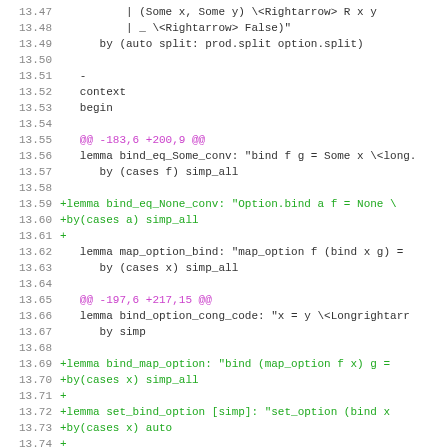Code diff showing lines 13.47–13.78 with context and added lemmas for bind_eq_None_conv, bind_map_option, set_bind_option, map_conv_bind_option